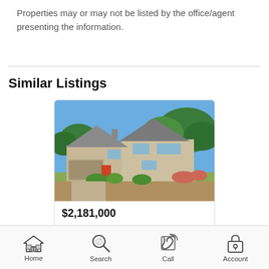Properties may or may not be listed by the office/agent presenting the information.
Similar Listings
[Figure (photo): Two-story tan/beige house with landscaping, shrubs, and trees in background under blue sky]
$2,181,000
4 bd, 3 bths, 2,464 sq.ft., 0.125 acres
25 Bertocchi LN
MILLBRAE, California
Home   Search   Call   Account